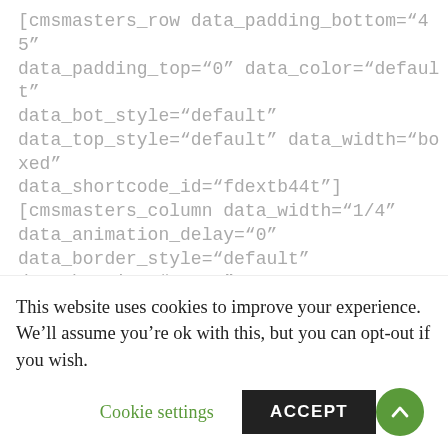[cmsmasters_row data_padding_bottom="45" data_padding_top="0" data_color="default" data_bot_style="default" data_top_style="default" data_width="boxed" data_shortcode_id="fdextb44t"] [cmsmasters_column data_width="1/4" data_animation_delay="0" data_border_style="default" data_bg_size="cover" data_bg_attachment="scroll" data_bg_repeat="no-repeat" data_bg_position="top center" data_shortcode_id="v6785gx0p"] [cmsmasters_button shortcode_id="vcq4y4vnih" button_target="self" button_text_align="center" button_font_weight="normal"
This website uses cookies to improve your experience. We'll assume you're ok with this, but you can opt-out if you wish.
Cookie settings   ACCEPT